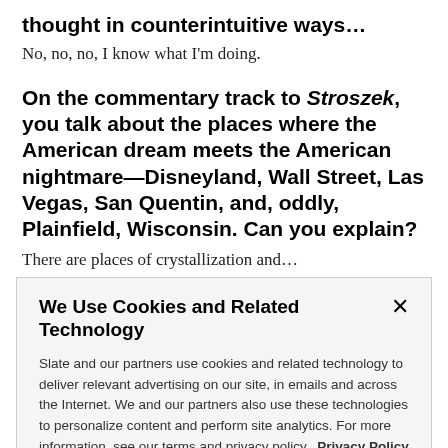thought in counterintuitive ways…
No, no, no, I know what I'm doing.
On the commentary track to Stroszek, you talk about the places where the American dream meets the American nightmare—Disneyland, Wall Street, Las Vegas, San Quentin, and, oddly, Plainfield, Wisconsin. Can you explain?
There are places of crystallization and…
We Use Cookies and Related Technology
Slate and our partners use cookies and related technology to deliver relevant advertising on our site, in emails and across the Internet. We and our partners also use these technologies to personalize content and perform site analytics. For more information, see our terms and privacy policy. Privacy Policy
OK